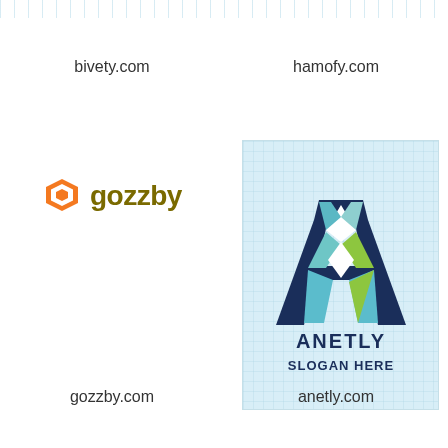bivety.com
hamofy.com
[Figure (logo): Gozzby logo: orange hexagon outline icon on the left, followed by the word 'gozzby' in bold olive/dark yellow-green lowercase letters]
[Figure (logo): Anetly logo on light blue grid background: geometric letter A made of dark navy blue outline with teal/green stained-glass style faceted segments inside; below: 'ANETLY' and 'SLOGAN HERE' in bold dark navy uppercase letters]
gozzby.com
anetly.com